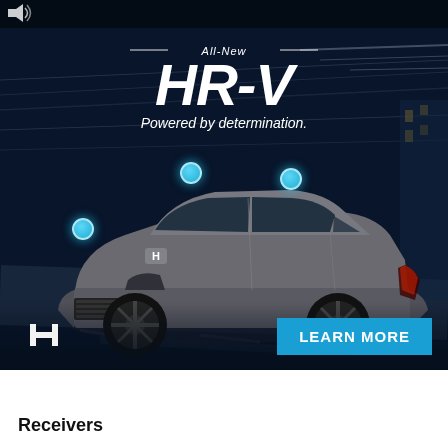[Figure (photo): Honda HR-V advertisement showing a gray Honda HR-V SUV driving at night on a road with motion-blur speed lines in the background. Text reads 'All-New HR-V Powered by determination.' with the Honda logo and a 'LEARN MORE' button.]
Receivers